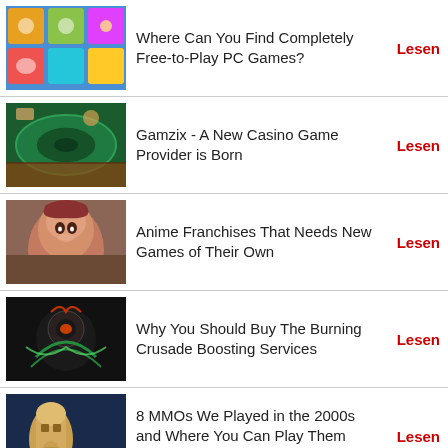Where Can You Find Completely Free-to-Play PC Games? Lesen
Gamzix - A New Casino Game Provider is Born Lesen
Anime Franchises That Needs New Games of Their Own Lesen
Why You Should Buy The Burning Crusade Boosting Services Lesen
8 MMOs We Played in the 2000s and Where You Can Play Them Now Lesen
gamigo's House of Wonders: 4 Exciting Things to Look Forward To Lesen
Which Online Lotteries Are the Best Bet for Success in 2021-22? Lesen